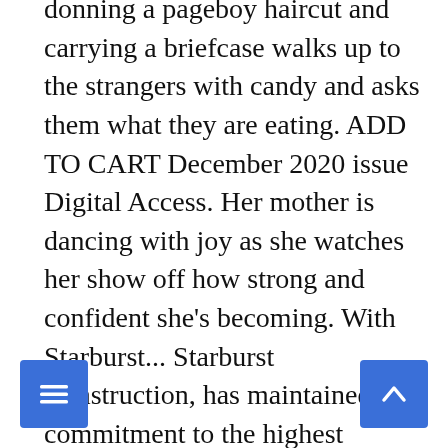donning a pageboy haircut and carrying a briefcase walks up to the strangers with candy and asks them what they are eating. ADD TO CART December 2020 issue Digital Access. Her mother is dancing with joy as she watches her show off how strong and confident she's becoming. With Starburst... Starburst Construction, has maintained commitment to the highest standard of performance at every level, with client satisfaction being our top priority. Yoplait TV Commercial, 'Taekwondo: Starburst Flavor' Ad ID: 2625855 15s 2020 ( Inactive ) SHOW MORE. Release 323-e. Cancel Anytime. Techstars Starburst Space Accelerator The Techstars Starburst Space Accelerator focuses on the next generation of commercial space technology companies and related frontier technologies. Starburst is the only commercial open source